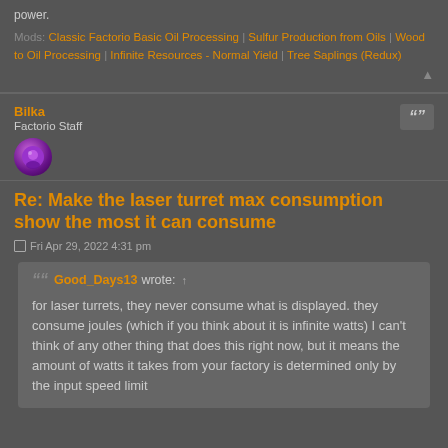power.
Mods: Classic Factorio Basic Oil Processing | Sulfur Production from Oils | Wood to Oil Processing | Infinite Resources - Normal Yield | Tree Saplings (Redux)
Bilka
Factorio Staff
Re: Make the laser turret max consumption show the most it can consume
Fri Apr 29, 2022 4:31 pm
Good_Days13 wrote: ↑
for laser turrets, they never consume what is displayed. they consume joules (which if you think about it is infinite watts) I can't think of any other thing that does this right now, but it means the amount of watts it takes from your factory is determined only by the input speed limit